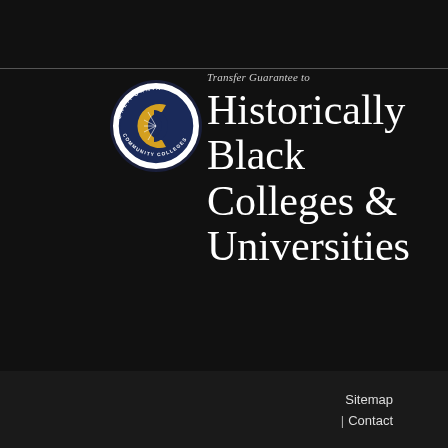Transfer Guarantee to
[Figure (logo): California Community Colleges circular seal/logo with gold and blue C emblem]
Historically Black Colleges & Universities
Sitemap | Contact